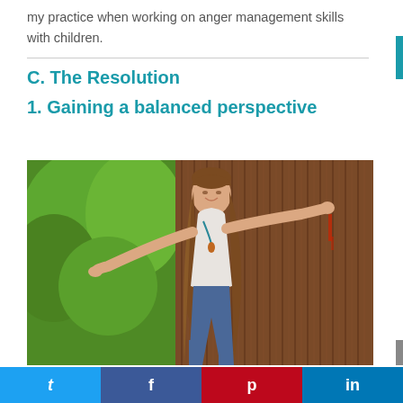my practice when working on anger management skills with children.
C. The Resolution
1. Gaining a balanced perspective
[Figure (photo): A young girl with long brown hair, wearing a white top and jeans, balancing with arms outstretched, standing in front of a corrugated metal fence with green foliage in the background.]
Twitter  Facebook  Pinterest  LinkedIn